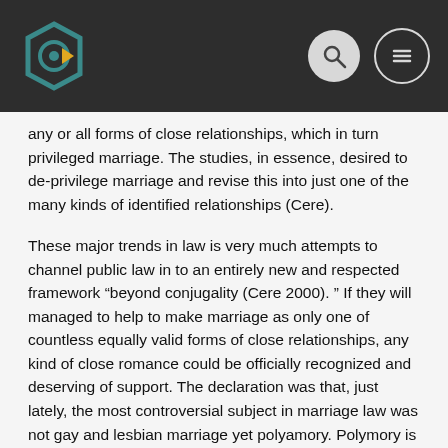[Header with logo and navigation icons]
any or all forms of close relationships, which in turn privileged marriage. The studies, in essence, desired to de-privilege marriage and revise this into just one of the many kinds of identified relationships (Cere).
These major trends in law is very much attempts to channel public law in to an entirely new and respected framework “beyond conjugality (Cere 2000). ” If they will managed to help to make marriage as only one of countless equally valid forms of close relationships, any kind of close romance could be officially recognized and deserving of support. The declaration was that, just lately, the most controversial subject in marriage law was not gay and lesbian marriage yet polyamory. Polymory is known from polygamy. Polygamy means many partnerships and polymory means various loves. A polyamorous marriage could consist in multiple-partner sexual associations, whether in marriage or not. Advocates of polyamory advanced “ethical non-monogamy, inch which involved more than one person in an open, frenche and